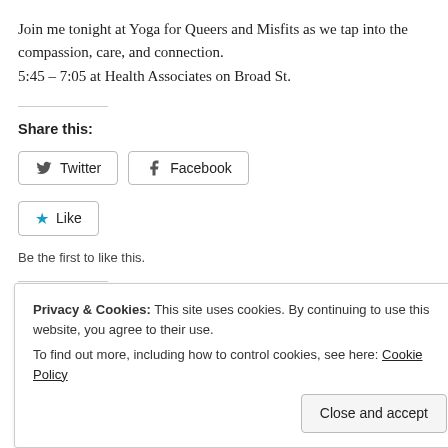Join me tonight at Yoga for Queers and Misfits as we tap into the compassion, care, and connection.
5:45 – 7:05 at Health Associates on Broad St.
Share this:
Twitter  Facebook
Like
Be the first to like this.
Privacy & Cookies: This site uses cookies. By continuing to use this website, you agree to their use.
To find out more, including how to control cookies, see here: Cookie Policy
Close and accept